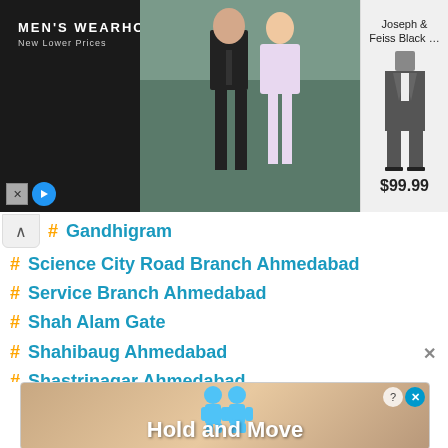[Figure (screenshot): Men's Wearhouse advertisement banner showing couple in formal wear and a suit product image priced at $99.99]
Gandhigram
Science City Road Branch Ahmedabad
Service Branch Ahmedabad
Shah Alam Gate
Shahibaug Ahmedabad
Shastrinagar Ahmedabad
Shela Branch Ahm
Shikhar Apartment Satellite Ahmedabad
Shrinand Nagar
Shyamal Cross Road Vejalpur
Sisaya Sab
[Figure (screenshot): Hold and Move advertisement banner with cartoon figures]